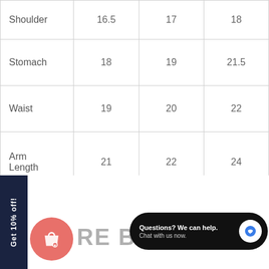| Shoulder | 16.5 | 17 | 18 |
| Stomach | 18 | 19 | 21.5 |
| Waist | 19 | 20 | 22 |
| Arm Length | 21 | 22 | 24 |
| Overall Length | 27 | 28 | 30 |
Get 10% off!
RE BLAZER
Questions? We can help. Chat with us now.